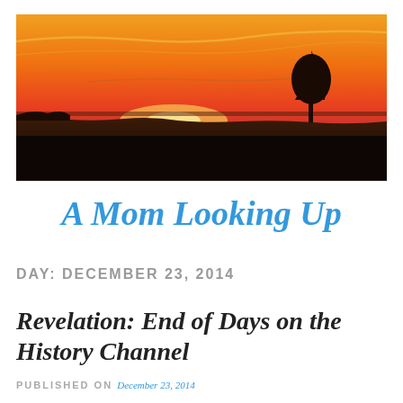[Figure (photo): Sunset landscape photo with orange and red sky, silhouette of trees and flat fields on the horizon, a single tree visible on the right side]
A Mom Looking Up
DAY: DECEMBER 23, 2014
Revelation: End of Days on the History Channel
PUBLISHED ON December 23, 2014